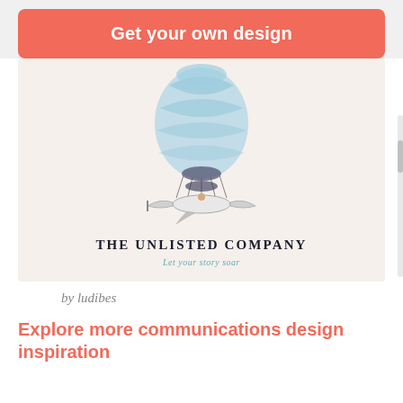Get your own design
[Figure (illustration): Hot air balloon illustration with a small airplane/bird basket, blue balloon envelope with stripes, attached to a gondola with a figure inside. Below the illustration are the words THE UNLISTED COMPANY and the tagline 'Let your story soar'.]
by ludibes
Explore more communications design inspiration